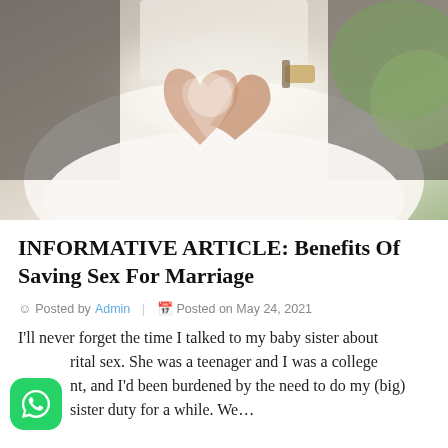[Figure (photo): Wedding photo showing couple's hands forming a heart shape. Bride in white lace dress, groom in dark suit. Green foliage in background.]
INFORMATIVE ARTICLE: Benefits Of Saving Sex For Marriage
Posted by Admin  |  Posted on May 24, 2021
I'll never forget the time I talked to my baby sister about [pre]marital sex. She was a teenager and I was a college [stude]nt, and I'd been burdened by the need to do my (big) [sister duty fo]r a while. We never…